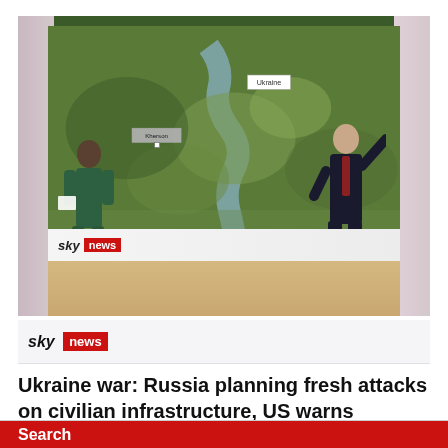[Figure (screenshot): Sky News TV broadcast screenshot showing two presenters in a studio standing in front of a large satellite map display showing Ukraine and the Kherson region. A woman in green dress on the left and a man in a dark suit on the right pointing at the map. Sky News logo banner visible at the bottom of the screen.]
Ukraine war: Russia planning fresh attacks on civilian infrastructure, US warns
Search